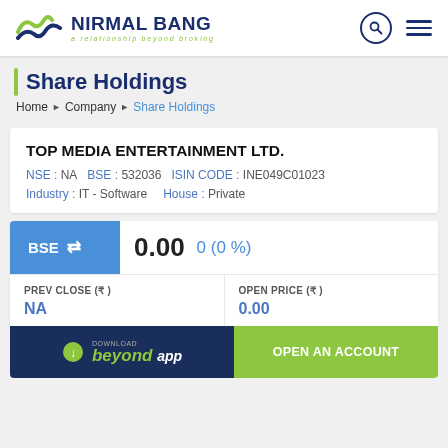[Figure (logo): Nirmal Bang logo — wave icon with green and blue colors, text 'NIRMAL BANG' and tagline 'a relationship beyond broking']
Share Holdings
Home ▶ Company ▶ Share Holdings
TOP MEDIA ENTERTAINMENT LTD. NSE : NA   BSE : 532036   ISIN CODE : INE049C01023   Industry : IT - Software   House : Private
BSE ⇌   0.00   0 (0 %)
| PREV CLOSE (₹) | OPEN PRICE (₹) |
| --- | --- |
| NA | 0.00 |